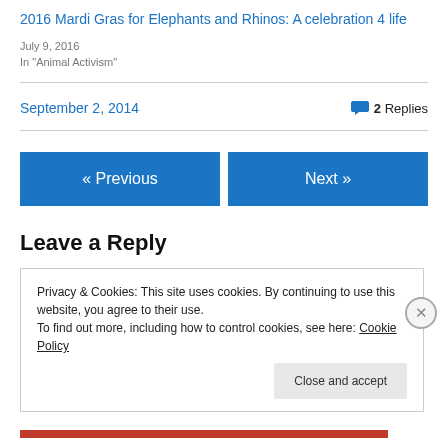2016 Mardi Gras for Elephants and Rhinos: A celebration 4 life
July 9, 2016
In "Animal Activism"
September 2, 2014
2 Replies
« Previous
Next »
Leave a Reply
Privacy & Cookies: This site uses cookies. By continuing to use this website, you agree to their use.
To find out more, including how to control cookies, see here: Cookie Policy
Close and accept